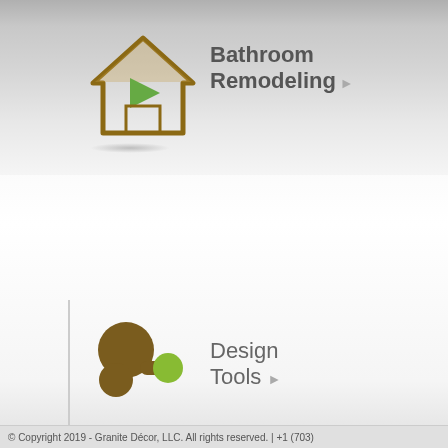[Figure (logo): House/home icon with golden outline and green play triangle inside, representing Bathroom Remodeling navigation item]
Bathroom Remodeling
[Figure (logo): Abstract design tools icon with two brown circles and one green circle connected by a bridge shape]
Design Tools
[Figure (logo): Document icon with lines and a gold plus/circle badge at bottom left, representing Free Estimate]
FREE ESTIMATE 703-835-5830
© Copyright 2019 - Granite Décor, LLC. All rights reserved. | +1 (703)